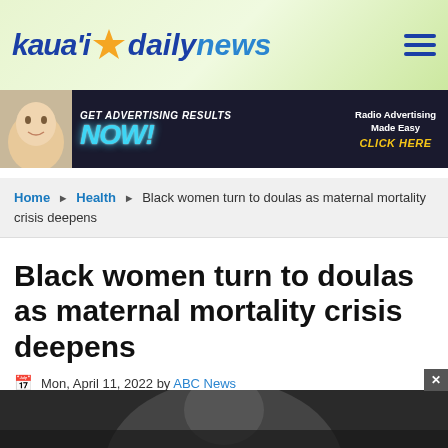[Figure (logo): Kaua'i Daily News logo with star icon, blue and cyan text on light green leafy background with hamburger menu icon]
[Figure (screenshot): Advertisement banner: GET ADVERTISING RESULTS NOW! Radio Advertising Made Easy CLICK HERE — dark background with glowing cyan NOW text and woman's face on left]
Home ▶ Health ▶ Black women turn to doulas as maternal mortality crisis deepens
Black women turn to doulas as maternal mortality crisis deepens
Mon, April 11, 2022 by ABC News
[Figure (other): Social share buttons: Facebook (blue), Twitter (cyan), LinkedIn (blue), Pinterest (red), Email (green)]
[Figure (photo): Partial photo of a person visible at bottom of page, dark tones]